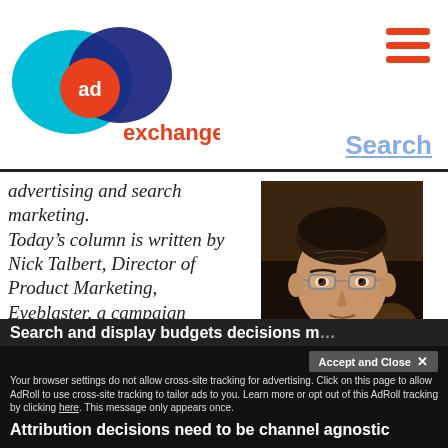AdExchanger logo and navigation
advertising and search marketing. Today's column is written by Nick Talbert, Director of Product Marketing, Eyeblaster, a campaign management and advertising technology company.
[Figure (photo): Headshot photo of Nick Talbert, a man with glasses and short dark hair]
Search and display budgets decisions m...
Your browser settings do not allow cross-site tracking for advertising. Click on this page to allow AdRoll to use cross-site tracking to tailor ads to you. Learn more or opt out of this AdRoll tracking by clicking here. This message only appears once.
Attribution decisions need to be channel agnostic